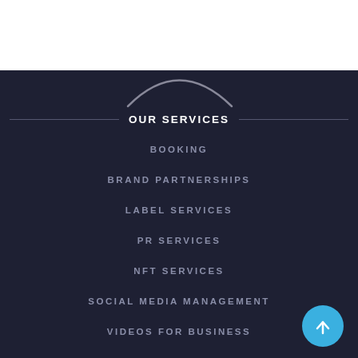[Figure (logo): mn2s logo in blue with swirl/arc underneath]
[Figure (other): Hamburger menu icon (three horizontal blue lines)]
[Figure (illustration): Gray arc/swirl graphic at top of dark section]
OUR SERVICES
BOOKING
BRAND PARTNERSHIPS
LABEL SERVICES
PR SERVICES
NFT SERVICES
SOCIAL MEDIA MANAGEMENT
VIDEOS FOR BUSINESS
MERCHANDISING